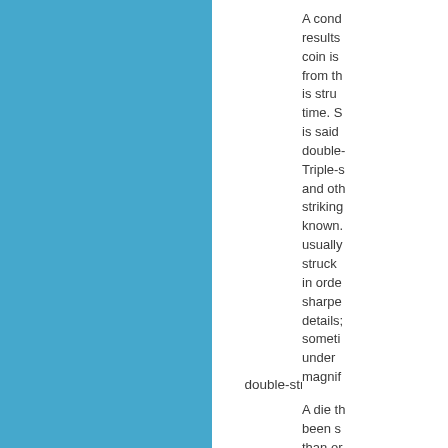[Figure (illustration): Solid blue rectangular panel on the left side of the page]
double-struck
A condition that results when a coin is ejected from the dies, is struck a second time. Such a coin is said to be double-struck. Triple-struck and other multiple strikings are also known. These are usually intentionally struck off-center in order to sharpen the details; this is sometimes visible under magnification.

A die that has been struck more than once by the hub in...